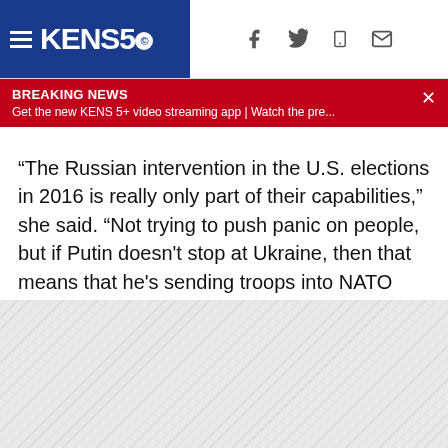KENS 5 - Breaking News: Get the new KENS 5+ video streaming app | Watch the pre...
“The Russian intervention in the U.S. elections in 2016 is really only part of their capabilities,” she said. “Not trying to push panic on people, but if Putin doesn't stop at Ukraine, then that means that he's sending troops into NATO countries like Poland and other Western allies—key European democracies. Putin is very close to threatening nuclear war. And that's something that should be very concerning for anybody.”